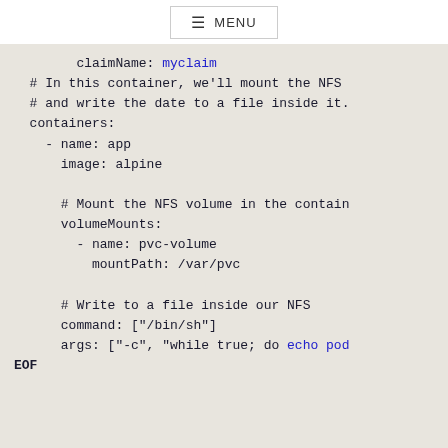≡ MENU
claimName: myclaim
# In this container, we'll mount the NFS
# and write the date to a file inside it.
containers:
  - name: app
    image: alpine

    # Mount the NFS volume in the contain
    volumeMounts:
      - name: pvc-volume
        mountPath: /var/pvc

    # Write to a file inside our NFS
    command: ["/bin/sh"]
    args: ["-c", "while true; do echo pod
EOF